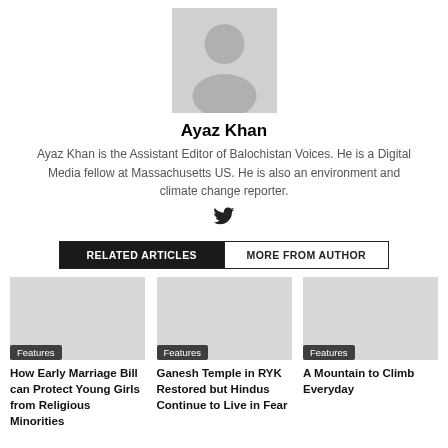[Figure (photo): Gray placeholder avatar silhouette for author Ayaz Khan]
Ayaz Khan
Ayaz Khan is the Assistant Editor of Balochistan Voices. He is a Digital Media fellow at Massachusetts US. He is also an environment and climate change reporter.
[Figure (logo): Twitter bird icon]
RELATED ARTICLES | MORE FROM AUTHOR
[Figure (photo): Article image for How Early Marriage Bill can Protect Young Girls from Religious Minorities — Features category]
How Early Marriage Bill can Protect Young Girls from Religious Minorities
[Figure (photo): Article image for Ganesh Temple in RYK Restored but Hindus Continue to Live in Fear — Features category]
Ganesh Temple in RYK Restored but Hindus Continue to Live in Fear
[Figure (photo): Article image for A Mountain to Climb Everyday — Features category]
A Mountain to Climb Everyday